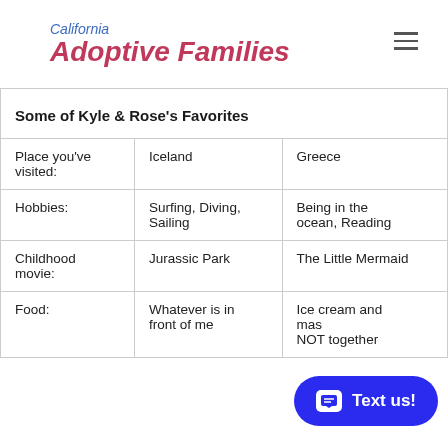California Adoptive Families
| Some of Kyle & Rose's Favorites |  |  |
| --- | --- | --- |
| Place you've visited: | Iceland | Greece |
| Hobbies: | Surfing, Diving, Sailing | Being in the ocean, Reading |
| Childhood movie: | Jurassic Park | The Little Mermaid |
| Food: | Whatever is in front of me | Ice cream and mas... NOT together |